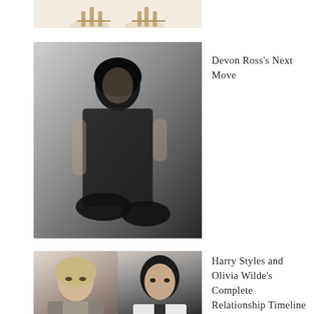[Figure (photo): Partial view of sandals/feet at the top of the page, cropped]
[Figure (photo): Person in black fishnet bodysuit seated against a grey background — Devon Ross]
Devon Ross’s Next Move
[Figure (photo): Two side-by-side photos: Olivia Wilde and Harry Styles]
Harry Styles and Olivia Wilde’s Complete Relationship Timeline
Categories
Beauty
Culture